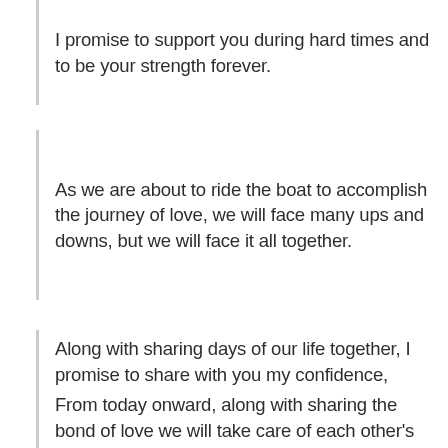I promise to support you during hard times and to be your strength forever.
As we are about to ride the boat to accomplish the journey of love, we will face many ups and downs, but we will face it all together.
Along with sharing days of our life together, I promise to share with you my confidence, strength, happiness and everything that belongs to me is yours.
From today onward, along with sharing the bond of love we will take care of each other's loved ones and take up